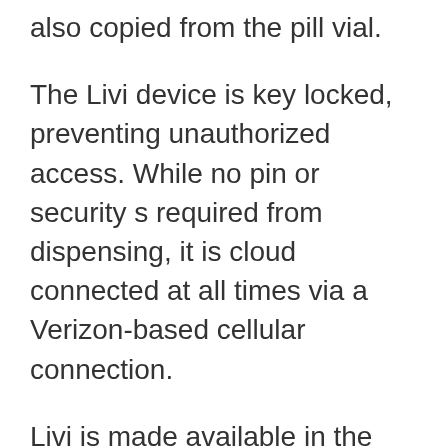also copied from the pill vial.
The Livi device is key locked, preventing unauthorized access. While no pin or security s required from dispensing, it is cloud connected at all times via a Verizon-based cellular connection.
Livi is made available in the USA by PharmRight Corporation.
HERO is a personal, home use, smart appliance that stores, dispenses, and manages pills. Loading HERO couldn?t be easier. Just pour your pills into a cartridge and slide it in. Sorting is now a thing of the past. Pour each pill into its own vial. HERO can hold over a month?s supply of ten different pills. HERO is locked, and